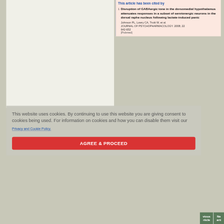This article has been cited by
Disruption of GABAergic tone in the dorsomedial hypothalamus attenuates responses in a subset of serotonergic neurons in the dorsal raphe nucleus following lactate-induced panic
Johnson PL, Lowry CA, Truitt W, et al.
JOURNAL OF PSYCHOPHARMACOLOGY. 2008; 22
642-652
[Pubmed]
This website uses cookies. By continuing to use this website you are giving consent to cookies being used. For information on cookies and how you can disable them visit our
Privacy and Cookie Policy.
AGREE & PROCEED
Previous article
Next article